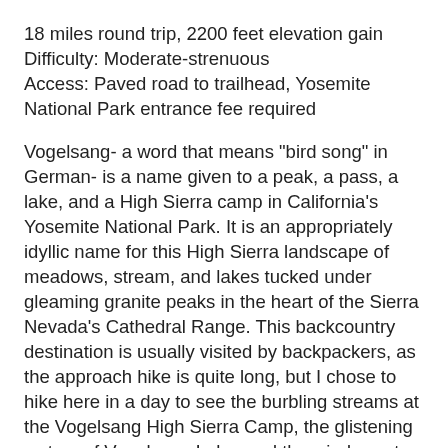18 miles round trip, 2200 feet elevation gain
Difficulty: Moderate-strenuous
Access: Paved road to trailhead, Yosemite National Park entrance fee required
Vogelsang- a word that means "bird song" in German- is a name given to a peak, a pass, a lake, and a High Sierra camp in California's Yosemite National Park. It is an appropriately idyllic name for this High Sierra landscape of meadows, stream, and lakes tucked under gleaming granite peaks in the heart of the Sierra Nevada's Cathedral Range. This backcountry destination is usually visited by backpackers, as the approach hike is quite long, but I chose to hike here in a day to see the burbling streams at the Vogelsang High Sierra Camp, the glistening waters of Vogelsang Lake, and the windswept granite peaks viewed from Vogelsang Pass. Day hikers can shorten this trip by turning around at the High Sierra Camp (15 miles round trip) or at Vogelsang Lake (16.5 miles round trip). While the Vogelsang area is quite pretty, there are other day hikes in the Tuolumne Meadows area of Yosemite National Park that